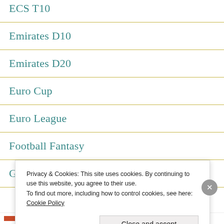ECS T10
Emirates D10
Emirates D20
Euro Cup
Euro League
Football Fantasy
German Basketball League
Privacy & Cookies: This site uses cookies. By continuing to use this website, you agree to their use. To find out more, including how to control cookies, see here: Cookie Policy
Close and accept